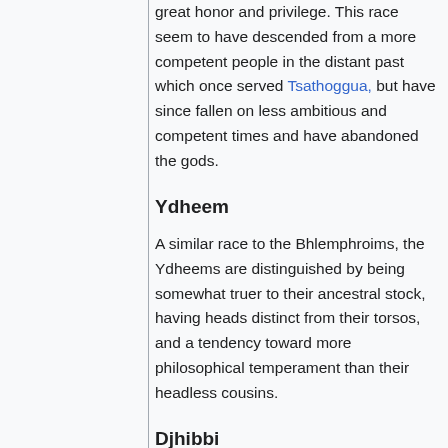great honor and privilege. This race seem to have descended from a more competent people in the distant past which once served Tsathoggua, but have since fallen on less ambitious and competent times and have abandoned the gods.
Ydheem
A similar race to the Bhlemphroims, the Ydheems are distinguished by being somewhat truer to their ancestral stock, having heads distinct from their torsos, and a tendency toward more philosophical temperament than their headless cousins.
Djhibbi
Djhibbis are a wingless, philosophical bird-like people who perch on towering